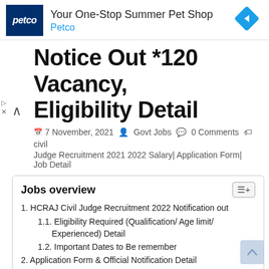[Figure (other): Petco advertisement banner with logo, text 'Your One-Stop Summer Pet Shop', 'Petco' in blue, and a blue diamond-shaped arrow icon on the right]
Notice Out *120 Vacancy, Eligibility Detail
7 November, 2021  Govt Jobs  0 Comments  civil Judge Recruitment 2021 2022 Salary| Application Form| Job Detail
Jobs overview
1. HCRAJ Civil Judge Recruitment 2022 Notification out
1.1. Eligibility Required (Qualification/ Age limit/ Experienced) Detail
1.2. Important Dates to Be remember
2. Application Form & Official Notification Detail
3. Selection Process